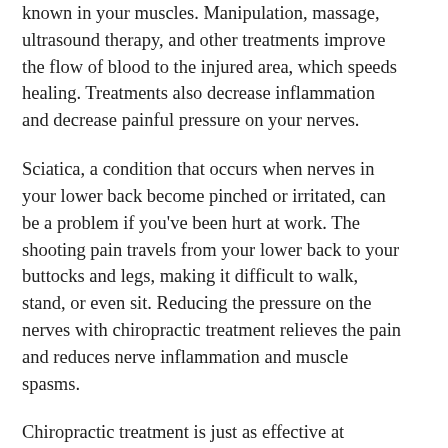known in your muscles. Manipulation, massage, ultrasound therapy, and other treatments improve the flow of blood to the injured area, which speeds healing. Treatments also decrease inflammation and decrease painful pressure on your nerves.
Sciatica, a condition that occurs when nerves in your lower back become pinched or irritated, can be a problem if you've been hurt at work. The shooting pain travels from your lower back to your buttocks and legs, making it difficult to walk, stand, or even sit. Reducing the pressure on the nerves with chiropractic treatment relieves the pain and reduces nerve inflammation and muscle spasms.
Chiropractic treatment is just as effective at improving carpal tunnel syndrome symptoms, reducing bursitis pain, or loosening knotted muscles. When a workplace injury causes knee or hip pain, chiropractic care offers an excellent solution. Hip or knee manipulations keep joints loose and mobile, reduce & tore normal